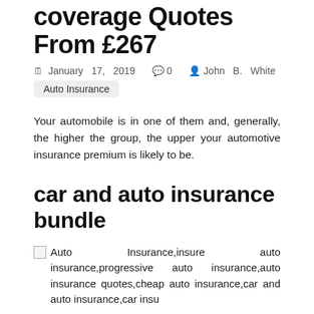coverage Quotes From £267
January 17, 2019   0   John B. White
Auto Insurance
Your automobile is in one of them and, generally, the higher the group, the upper your automotive insurance premium is likely to be.
car and auto insurance bundle
[Figure (other): Broken image placeholder with alt text: Auto Insurance,insure auto insurance,progressive auto insurance,auto insurance quotes,cheap auto insurance,car and auto insurance,car insu]
Auto insurance danger selection is the method by which vehicle insurers determine whether or not to insure a person and what insurance … Read the rest